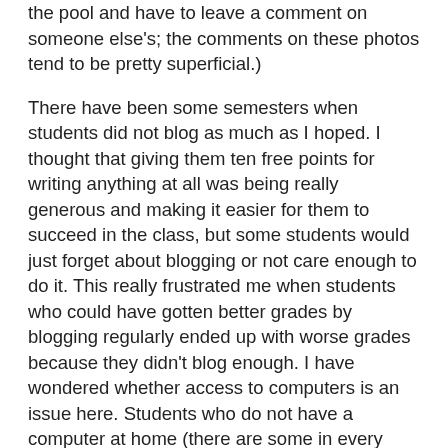the pool and have to leave a comment on someone else's; the comments on these photos tend to be pretty superficial.)
There have been some semesters when students did not blog as much as I hoped. I thought that giving them ten free points for writing anything at all was being really generous and making it easier for them to succeed in the class, but some students would just forget about blogging or not care enough to do it. This really frustrated me when students who could have gotten better grades by blogging regularly ended up with worse grades because they didn't blog enough. I have wondered whether access to computers is an issue here. Students who do not have a computer at home (there are some in every class) are at a disadvantage. So are students who are less familiar with the participatory internet. (The idea that anyone born since the mid-1980s is a “digital native” is way overstated.) I learned early on that I would need to spend time at the beginning of the semester walking the class through every step of blogging, including where to type the content of a post, how to insert a link or photo or embed a video, how to publish a post, and how to comment on someone else’s. Any student who had not successfully